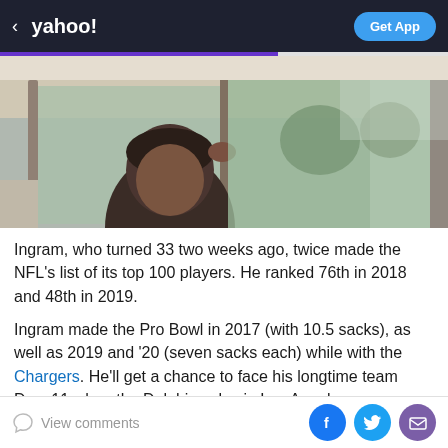< yahoo!  Get App
[Figure (photo): Photo of a person looking out a car window, taken from outside the vehicle]
Ingram, who turned 33 two weeks ago, twice made the NFL's list of its top 100 players. He ranked 76th in 2018 and 48th in 2019.
Ingram made the Pro Bowl in 2017 (with 10.5 sacks), as well as 2019 and '20 (seven sacks each) while with the Chargers. He'll get a chance to face his longtime team Dec. 11 when the Dolphins play in Los Angeles.
View comments